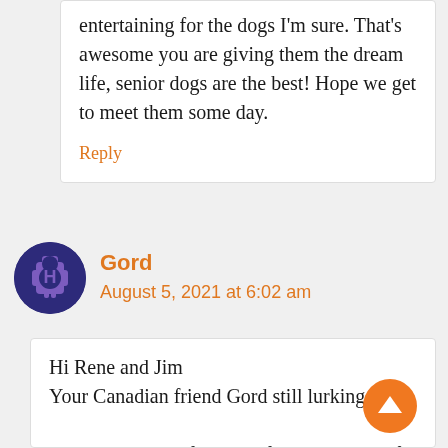entertaining for the dogs I'm sure. That's awesome you are giving them the dream life, senior dogs are the best! Hope we get to meet them some day.
Reply
Gord
August 5, 2021 at 6:02 am
Hi Rene and Jim
Your Canadian friend Gord still lurking.

Not to worry my friends, I firmly believe, If you are to have another dog in the future,